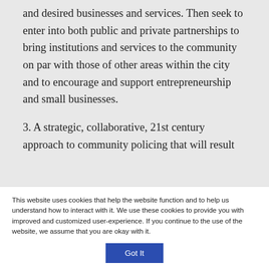and desired businesses and services. Then seek to enter into both public and private partnerships to bring institutions and services to the community on par with those of other areas within the city and to encourage and support entrepreneurship and small businesses.
3. A strategic, collaborative, 21st century approach to community policing that will result
This website uses cookies that help the website function and to help us understand how to interact with it. We use these cookies to provide you with improved and customized user-experience. If you continue to the use of the website, we assume that you are okay with it.